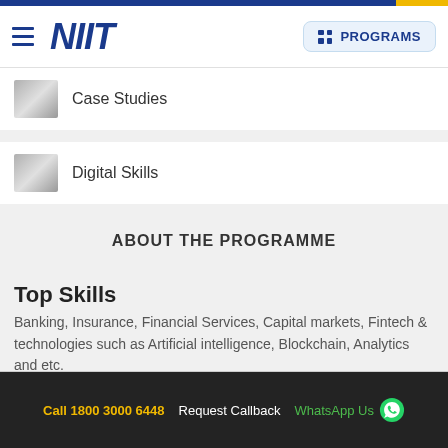NIIT — PROGRAMS
Case Studies
Digital Skills
ABOUT THE PROGRAMME
Top Skills
Banking, Insurance, Financial Services, Capital markets, Fintech & technologies such as Artificial intelligence, Blockchain, Analytics and etc.
Job Opportunities
Call 1800 3000 6448  Request Callback  WhatsApp Us